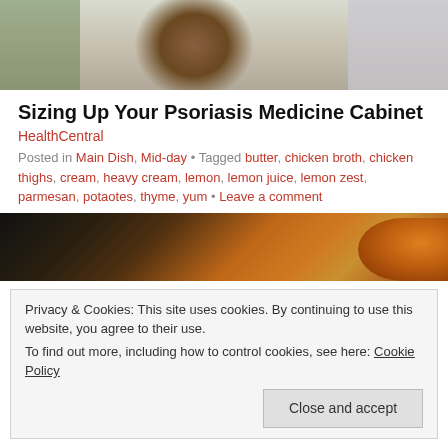[Figure (photo): Person in pharmacy or store aisle, wearing plaid shirt, reaching toward shelves]
Sizing Up Your Psoriasis Medicine Cabinet
HealthCentral
Posted in Main Dish, Mid-day • Tagged butter, chicken broth, chicken thighs, cream, heavy cream, lemon, lemon juice, lemon zest, parmesan, potaotes, thyme, yum • Leave a comment
[Figure (photo): Dark background with amber/orange liquid, possibly a drink or food item]
Privacy & Cookies: This site uses cookies. By continuing to use this website, you agree to their use.
To find out more, including how to control cookies, see here: Cookie Policy
Close and accept